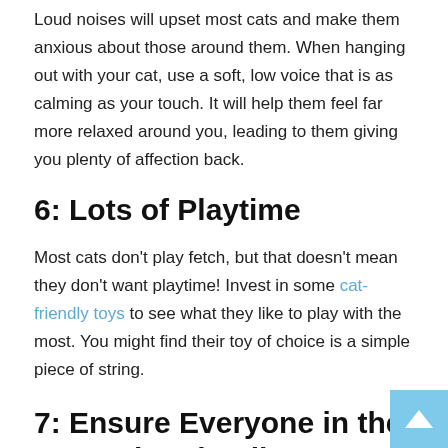Loud noises will upset most cats and make them anxious about those around them. When hanging out with your cat, use a soft, low voice that is as calming as your touch. It will help them feel far more relaxed around you, leading to them giving you plenty of affection back.
6: Lots of Playtime
Most cats don't play fetch, but that doesn't mean they don't want playtime! Invest in some cat-friendly toys to see what they like to play with the most. You might find their toy of choice is a simple piece of string.
7: Ensure Everyone in the House is Friendly